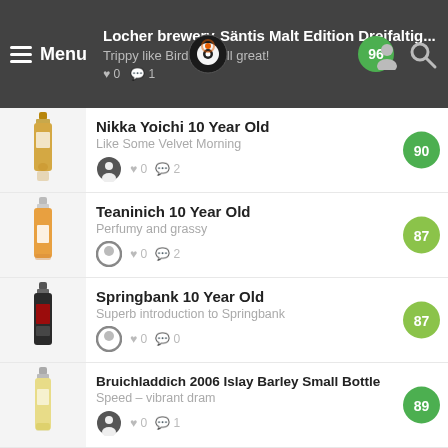Locher brewery Säntis Malt Edition Dreifaltig... Trippy like Bird..., still great!
Nikka Yoichi 10 Year Old | Like Some Velvet Morning | ♥ 0 💬 2 | Score: 90
Teaninich 10 Year Old | Perfumy and grassy | ♥ 0 💬 2 | Score: 87
Springbank 10 Year Old | Superb introduction to Springbank | ♥ 0 💬 0 | Score: 87
Bruichladdich 2006 Islay Barley Small Bottle | Speed – vibrant dram | ♥ 0 💬 1 | Score: 89